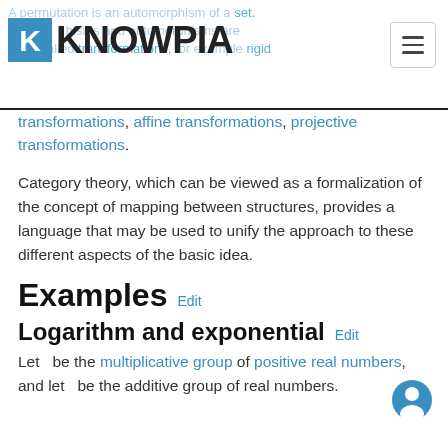KNOWPIA — A permutation is an automorphism of a set. In geometry, morphisms and automorphisms are often called transformations, for example rigid transformations, affine transformations, projective transformations.
transformations, affine transformations, projective transformations.
Category theory, which can be viewed as a formalization of the concept of mapping between structures, provides a language that may be used to unify the approach to these different aspects of the basic idea.
Examples  Edit
Logarithm and exponential  Edit
Let  be the multiplicative group of positive real numbers, and let  be the additive group of real numbers.